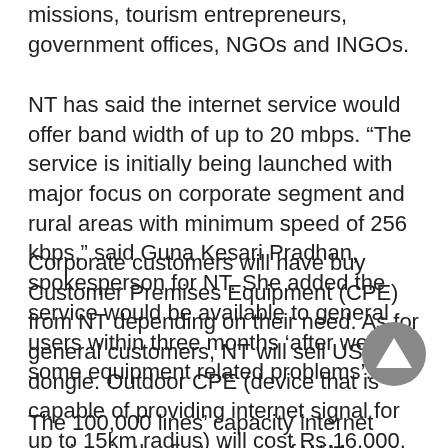missions, tourism entrepreneurs, government offices, NGOs and INGOs.
NT has said the internet service would offer band width of up to 20 mbps. “The service is initially being launched with major focus on corporate segment and rural areas with minimum speed of 256 kbps,” said Guna Kesari Pradhan, spokesperson for NT. She added the service would be available to general users within three months ‘after we fix some equipment related problems’.
Corporate customers will have buy Customer Premises Equipment (CPE) from NT depending on their need. As for general customers, NT will sell USB dongle. Outdoor CPE (device that is capable of providing internet signal for up to 15km radius) will cost Rs 16,000. Indoor device having range of up to 5km will cost Rs 12,000.
The 100,000 lines’ capacity internet service, in the first phase of WiMax project, will have coverage within Sanga